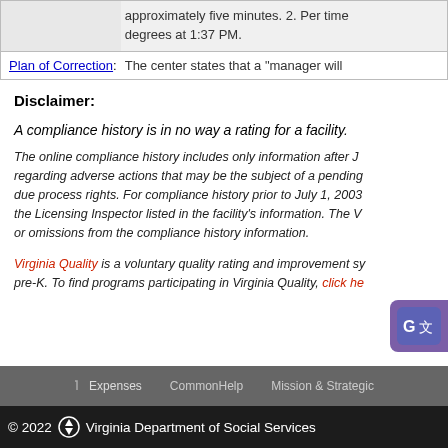approximately five minutes. 2. Per time degrees at 1:37 PM.
Plan of Correction: The center states that a "manager will
Disclaimer:
A compliance history is in no way a rating for a facility.
The online compliance history includes only information after J... regarding adverse actions that may be the subject of a pending... due process rights. For compliance history prior to July 1, 2003... the Licensing Inspector listed in the facility's information. The V... or omissions from the compliance history information.
Virginia Quality is a voluntary quality rating and improvement sy... pre-K. To find programs participating in Virginia Quality, click he...
Expenses   CommonHelp   Mission & Strategic
© 2022 Virginia Department of Social Services